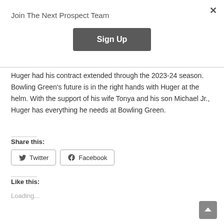Join The Next Prospect Team
Sign Up
Huger had his contract extended through the 2023-24 season. Bowling Green's future is in the right hands with Huger at the helm. With the support of his wife Tonya and his son Michael Jr., Huger has everything he needs at Bowling Green.
Share this:
Twitter
Facebook
Like this:
Loading...